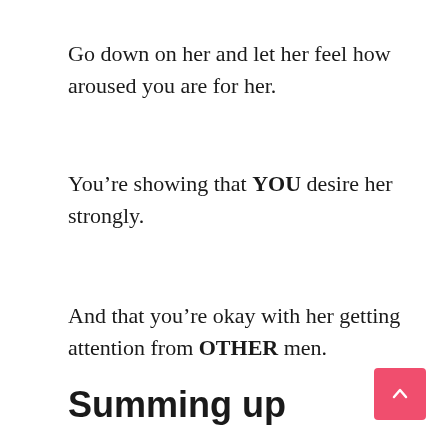Go down on her and let her feel how aroused you are for her.
You’re showing that YOU desire her strongly.
And that you’re okay with her getting attention from OTHER men.
Summing up